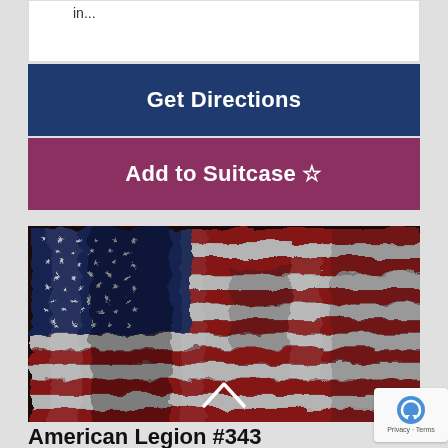in...
Get Directions
Add to Suitcase ☆
[Figure (photo): Waving American flag filling the image frame, red, white, and blue colors with stars and stripes visible, with a chevron/caret up arrow icon at the bottom center]
American Legion #343